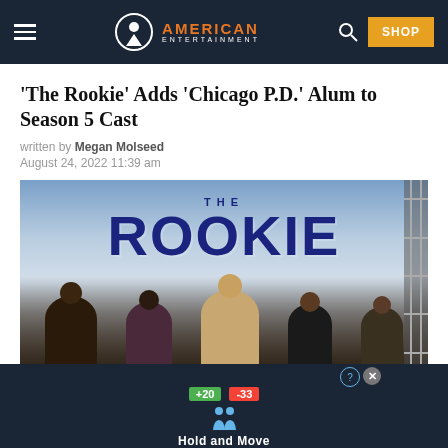American Entertainment — SHOP
'The Rookie' Adds 'Chicago P.D.' Alum to Season 5 Cast
written by Megan Molseed
August 24, 2022 11:39 am
[Figure (photo): The Rookie TV show promotional image with cast members seated, large 'THE ROOKIE' title text on a cloudy sky background]
[Figure (screenshot): Advertisement banner showing 'Hold and Move' app/game with score indicators (+20, -33) and two figure icons on a dark background]